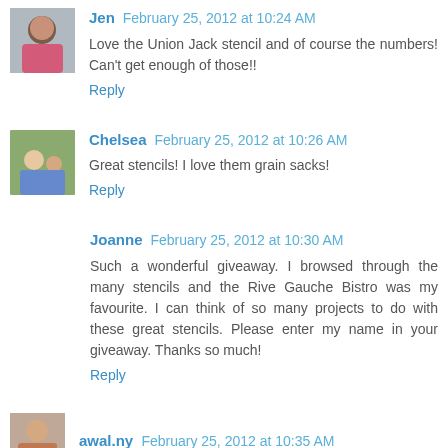[Figure (photo): Avatar photo of Jen, a woman with dark hair]
Jen  February 25, 2012 at 10:24 AM
Love the Union Jack stencil and of course the numbers! Can't get enough of those!!
Reply
[Figure (photo): Avatar photo of Chelsea, people outdoors]
Chelsea  February 25, 2012 at 10:26 AM
Great stencils! I love them grain sacks!
Reply
Joanne  February 25, 2012 at 10:30 AM
Such a wonderful giveaway. I browsed through the many stencils and the Rive Gauche Bistro was my favourite. I can think of so many projects to do with these great stencils. Please enter my name in your giveaway. Thanks so much!
Reply
[Figure (photo): Avatar photo of awal.ny]
awal.ny  February 25, 2012 at 10:35 AM